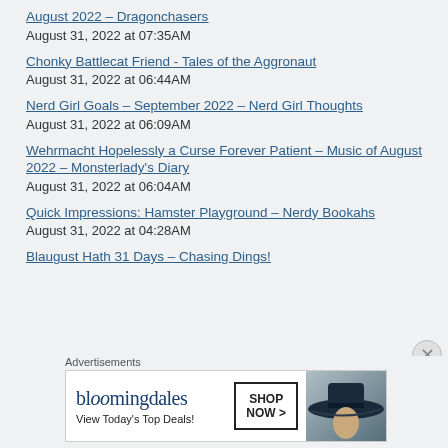August 2022 – Dragonchasers
August 31, 2022 at 07:35AM
Chonky Battlecat Friend - Tales of the Aggronaut
August 31, 2022 at 06:44AM
Nerd Girl Goals – September 2022 – Nerd Girl Thoughts
August 31, 2022 at 06:09AM
Wehrmacht Hopelessly a Curse Forever Patient – Music of August 2022 – Monsterlady's Diary
August 31, 2022 at 06:04AM
Quick Impressions: Hamster Playground – Nerdy Bookahs
August 31, 2022 at 04:28AM
Blaugust Hath 31 Days – Chasing Dings!
[Figure (screenshot): Bloomingdale's advertisement banner with logo, 'View Today's Top Deals!' tagline, woman in wide-brim hat, and 'SHOP NOW >' call-to-action button. Labeled 'Advertisements' above.]